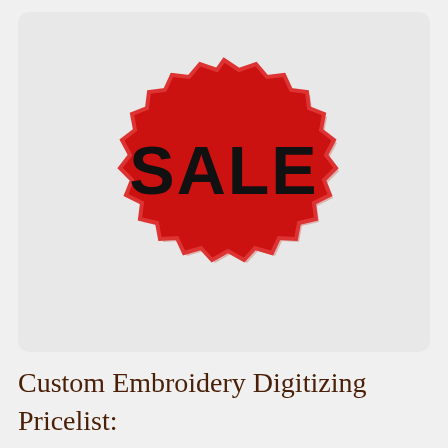[Figure (photo): A red embroidered 'SALE' patch in the shape of a starburst/badge with jagged edges, with black text reading 'SALE', placed on a white fabric background. The image has a white rounded-rectangle card border.]
Custom Embroidery Digitizing Pricelist: